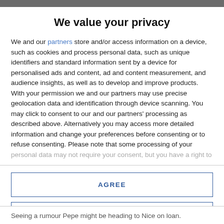We value your privacy
We and our partners store and/or access information on a device, such as cookies and process personal data, such as unique identifiers and standard information sent by a device for personalised ads and content, ad and content measurement, and audience insights, as well as to develop and improve products. With your permission we and our partners may use precise geolocation data and identification through device scanning. You may click to consent to our and our partners' processing as described above. Alternatively you may access more detailed information and change your preferences before consenting or to refuse consenting. Please note that some processing of your personal data may not require your consent, but you have a right to
AGREE
MORE OPTIONS
Seeing a rumour Pepe might be heading to Nice on loan.